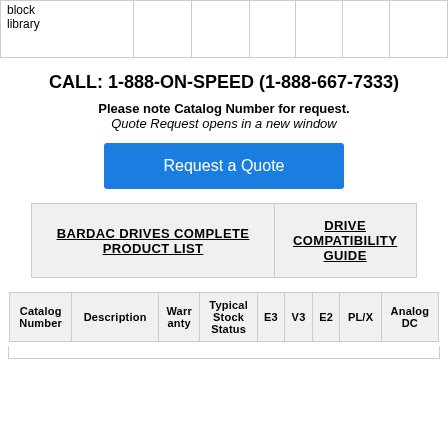| block
library |  |  |  |  |  |  |
CALL: 1-888-ON-SPEED (1-888-667-7333)
Please note Catalog Number for request.
Quote Request opens in a new window
[Figure (other): Blue 'Request a Quote' button]
| BARDAC DRIVES COMPLETE PRODUCT LIST | DRIVE COMPATIBILITY GUIDE |
| --- | --- |
| Catalog Number | Description | Warranty | Typical Stock Status | E3 | V3 | E2 | PL/X | Analog DC |
| --- | --- | --- | --- | --- | --- | --- | --- | --- |